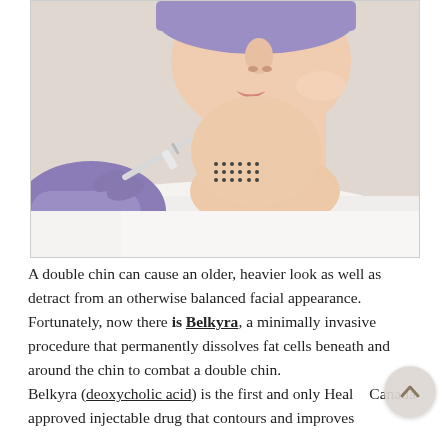[Figure (photo): A woman lying back receiving a chin injection from a gloved hand holding a syringe. Dots are marked on her chin/neck area indicating injection points. She wears a purple headband.]
A double chin can cause an older, heavier look as well as detract from an otherwise balanced facial appearance. Fortunately, now there is Belkyra, a minimally invasive procedure that permanently dissolves fat cells beneath and around the chin to combat a double chin. Belkyra (deoxycholic acid) is the first and only Health Canada approved injectable drug that contours and improves